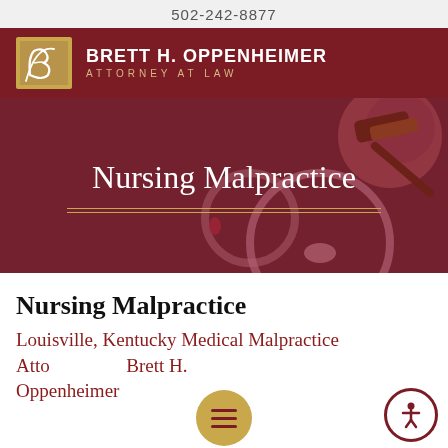502-242-8877
[Figure (logo): Brett H. Oppenheimer Attorney at Law logo with gold script B on tan background and white text on dark red banner]
[Figure (photo): Hero banner showing Nursing Malpractice heading over a muted dark red background with a stethoscope and gavel visible]
Nursing Malpractice
Louisville, Kentucky Medical Malpractice Attorney Brett H. Oppenheimer